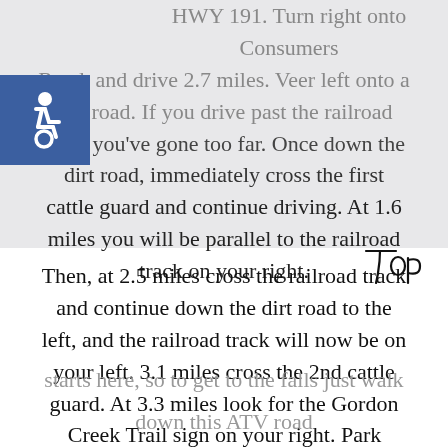HWY 191. Turn right onto Consumers Road, and drive 2.7 miles. Veer left onto a dirt road. If you drive past the railroad track you've gone too far. Once down the dirt road, immediately cross the first cattle guard and continue driving. At 1.6 miles you will be parallel to the railroad track on your right.
[Figure (illustration): Accessibility wheelchair icon — white wheelchair symbol on blue square background]
Then, at 2.5 miles cross the railroad track and continue down the dirt road to the left, and the railroad track will now be on your left. 3.1 miles cross the 2nd cattle guard. At 3.3 miles look for the Gordon Creek Trail sign on your right. Park anywhere near this sign. The trail literally starts here, so to get to the falls just walk down this ATV road